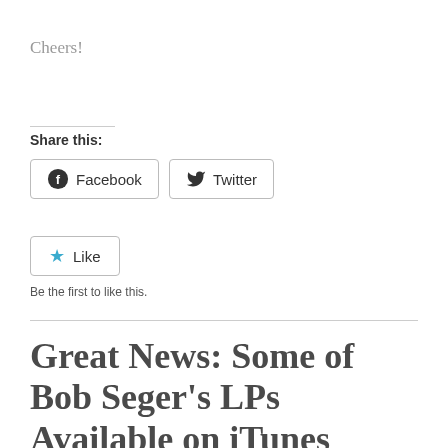Cheers!
Share this:
Facebook   Twitter
Like
Be the first to like this.
Great News: Some of Bob Seger's LPs Available on iTunes Now!?!